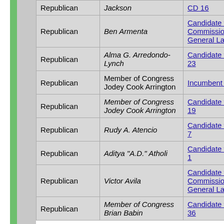| Party | Name | Race/Position |
| --- | --- | --- |
| Republican | Jackson | CD 16 |
| Republican | Ben Armenta | Candidate for Commissioner General Land |
| Republican | Alma G. Arredondo-Lynch | Candidate for CD 23 |
| Republican | Member of Congress Jodey Cook Arrington | Incumbent Ho 19 |
| Republican | Member of Congress Jodey Cook Arrington | Candidate for CD 19 |
| Republican | Rudy A. Atencio | Candidate for CD 7 |
| Republican | Aditya "A.D." Atholi | Candidate for CD 1 |
| Republican | Victor Avila | Candidate for Commissioner General Land |
| Republican | Member of Congress Brian Babin | Candidate for CD 36 |